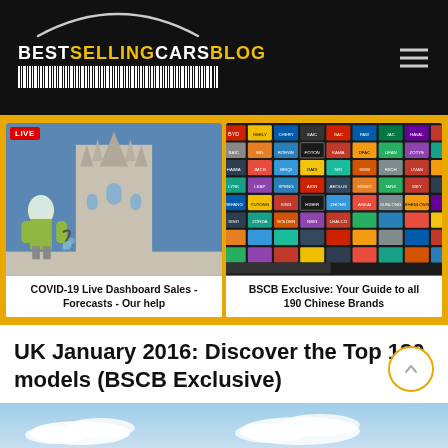BESTSELLINGCARSBLOG
[Figure (photo): COVID-19: person in hazmat suit spraying disinfectant in front of Milan Cathedral with LIVE badge overlay]
COVID-19 Live Dashboard Sales - Forecasts - Our help
[Figure (illustration): Collage of 190 Chinese car brand logos on yellow/dark background]
BSCB Exclusive: Your Guide to all 190 Chinese Brands
UK January 2016: Discover the Top 130 models (BSCB Exclusive)
March 8, 2016   Matt Gasnier